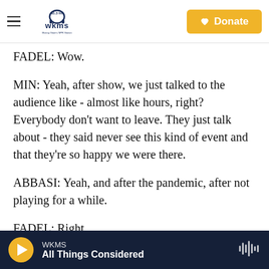WKMS 91.3 fm — Murray State's NPR Station | Donate
FADEL: Wow.
MIN: Yeah, after show, we just talked to the audience like - almost like hours, right? Everybody don't want to leave. They just talk about - they said never see this kind of event and that they're so happy we were there.
ABBASI: Yeah, and after the pandemic, after not playing for a while.
FADEL: Right.
MIN: Yeah.
WKMS — All Things Considered